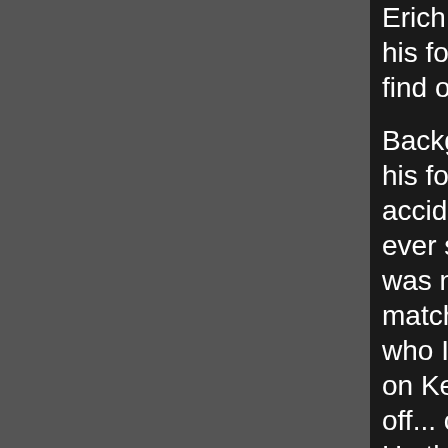Erich under the table to find out if he'd lost his foot, but passed out before she could find out.

Background on Kerry's foot- Kerry HAD lost his foot as a consequence of a motorcycle accident he had in the mid-80's. No one has ever said exactly when it happened, as it was not revealed that he'd lost it until a match in the late 80's. Kerry's opponent, who I believe was Colonel DeBeers, pulled on Kerry's boot during a match and it came off... complete with Kerry's prosthetic foot. He then took the boot back and went under the ring to reattach it to his leg. Most theorists figure that it happened either because Kerry walked around on it at the hospital when he wasn't supposed to, that he'd come back to wrestling too soon after injuring it, or that all the painkillers pumped into his leg